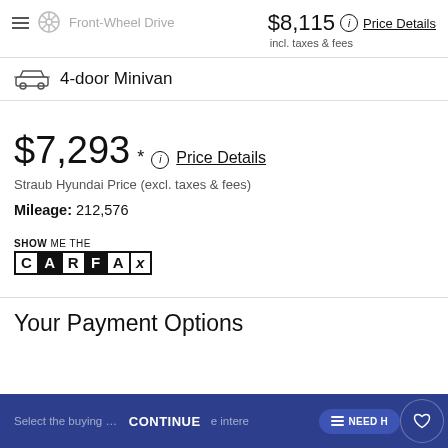$8,115 incl. taxes & fees  Price Details
Front-Wheel Drive
4-door Minivan
$7,293*  Price Details
Straub Hyundai Price (excl. taxes & fees)
Mileage: 212,576
[Figure (logo): SHOW ME THE CARFAX logo]
Your Payment Options
Select the buying option  CONTINUE  e intere  NEED HELP